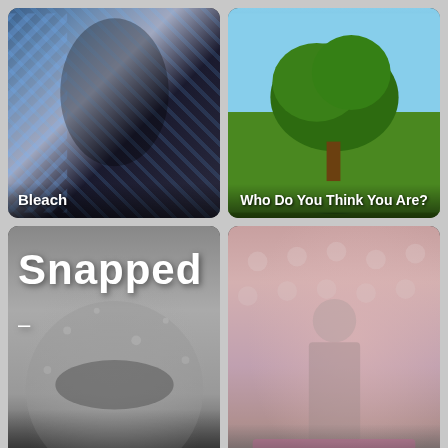[Figure (screenshot): TV show thumbnail for 'Bleach' with stylized figures against blue striped background]
[Figure (screenshot): TV show thumbnail for 'Who Do You Think You Are?' with tree against blue sky background]
[Figure (screenshot): TV show thumbnail for 'Snapped' with grayscale face behind rain-covered glass and large white title text]
[Figure (screenshot): TV show thumbnail for 'Live at the Apollo' with faded figure in suit against light red/pink background]
[Figure (screenshot): TV show thumbnail - dark reddish-black background, partially visible]
[Figure (screenshot): TV show thumbnail - orange/yellow background with woman's face partially visible]